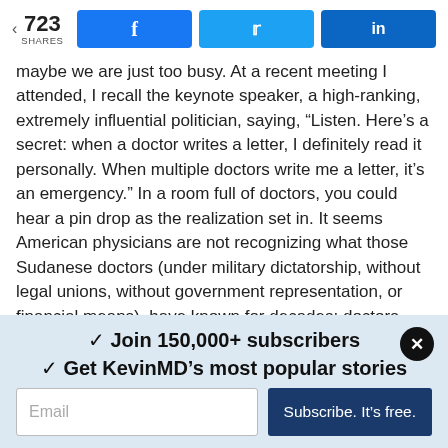< 723 SHARES [Facebook] [Twitter] [LinkedIn]
maybe we are just too busy. At a recent meeting I attended, I recall the keynote speaker, a high-ranking, extremely influential politician, saying, “Listen. Here’s a secret: when a doctor writes a letter, I definitely read it personally. When multiple doctors write me a letter, it’s an emergency.” In a room full of doctors, you could hear a pin drop as the realization set in. It seems American physicians are not recognizing what those Sudanese doctors (under military dictatorship, without legal unions, without government representation, or financial means), have known for decades: doctors hold a privileged position in our own communities, one with a voice seemingly louder than the rest, should we choose to use it.
✓ Join 150,000+ subscribers
✓ Get KevinMD’s most popular stories